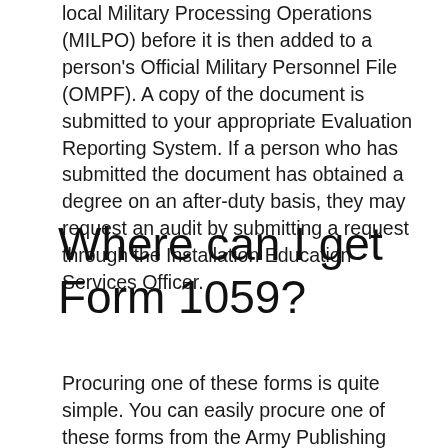local Military Processing Operations (MILPO) before it is then added to a person's Official Military Personnel File (OMPF). A copy of the document is submitted to your appropriate Evaluation Reporting System. If a person who has submitted the document has obtained a degree on an after-duty basis, they may request an audit by submitting a request through the Installation Education Services Officer.
Where can I get Form 1059?
Procuring one of these forms is quite simple. You can easily procure one of these forms from the Army Publishing Directorate